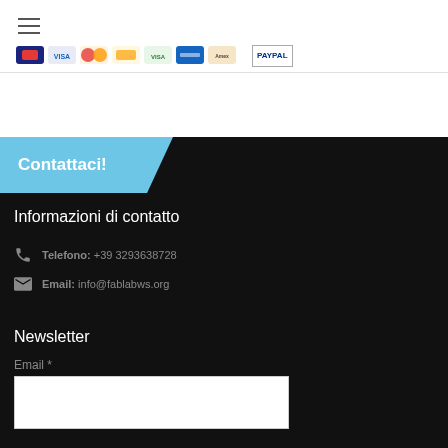[Figure (screenshot): Hamburger menu icon (three horizontal lines) in top-left corner of page header]
[Figure (screenshot): Row of payment method logos/icons including Visa, Mastercard, PayPal and others]
Contattaci!
Informazioni di contatto
Telefono: +39 3293638728
Email: info@fablabws.org
Newsletter
Email *